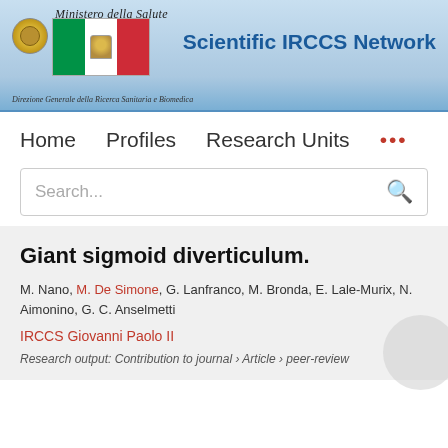[Figure (logo): Scientific IRCCS Network header banner with Italian Ministry of Health logo (Ministero della Salute), Italian flag, and network title. Subtitle: Direzione Generale della Ricerca Sanitaria e Biomedica]
Home   Profiles   Research Units   ...
Search...
Giant sigmoid diverticulum.
M. Nano, M. De Simone, G. Lanfranco, M. Bronda, E. Lale-Murix, N. Aimonino, G. C. Anselmetti
IRCCS Giovanni Paolo II
Research output: Contribution to journal › Article › peer-review